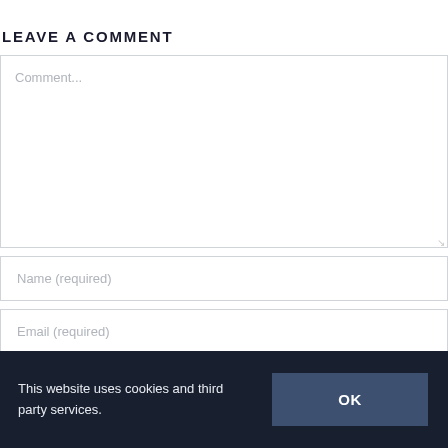Leave A Comment
Comment...
Name (required)
Email (required)
Website
This website uses cookies and third party services.